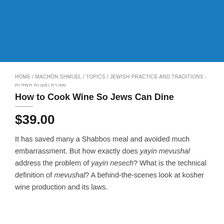[Figure (other): Blue rectangular banner image at the top of the page]
HOME / MACHON SHMUEL / TOPICS / JEWISH PRACTICE AND TRADITIONS - מסורת ומצוות תמידיות
How to Cook Wine So Jews Can Dine
$39.00
It has saved many a Shabbos meal and avoided much embarrassment. But how exactly does yayin mevushal address the problem of yayin nesech? What is the technical definition of mevushal? A behind-the-scenes look at kosher wine production and its laws.